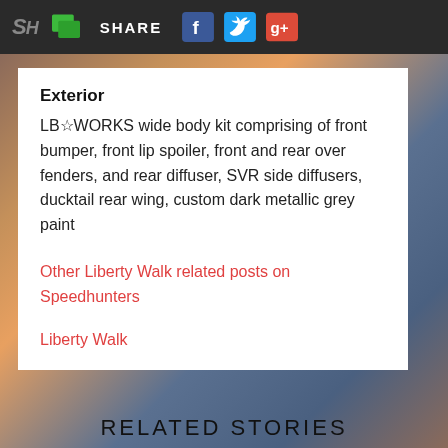SH | SHARE [Facebook] [Twitter] [Google+]
Exterior
LB☆WORKS wide body kit comprising of front bumper, front lip spoiler, front and rear over fenders, and rear diffuser, SVR side diffusers, ducktail rear wing, custom dark metallic grey paint
Other Liberty Walk related posts on Speedhunters
Liberty Walk
RELATED STORIES